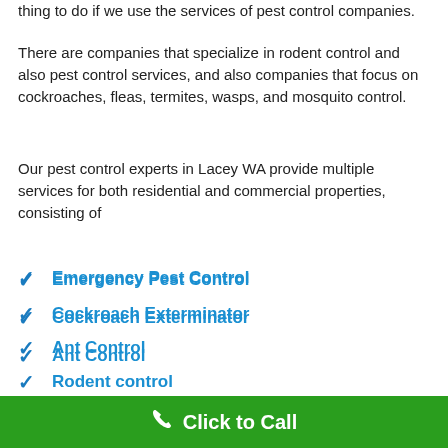thing to do if we use the services of pest control companies.
There are companies that specialize in rodent control and also pest control services, and also companies that focus on cockroaches, fleas, termites, wasps, and mosquito control.
Our pest control experts in Lacey WA provide multiple services for both residential and commercial properties, consisting of
Emergency Pest Control
Cockroach Exterminator
Ant Control
Rodent control
Wasp and Bee Removal
Termite Control & Treatment
Click to Call